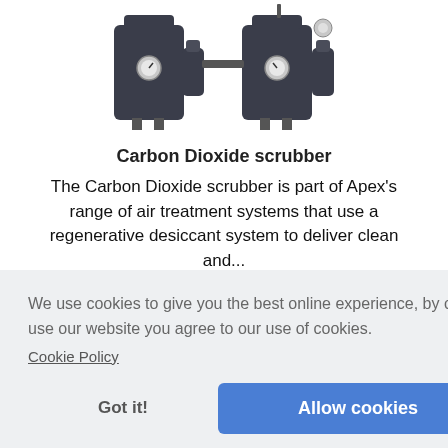[Figure (photo): Photo of Carbon Dioxide scrubber air treatment equipment, showing two dark cylindrical units with gauges and fittings]
Carbon Dioxide scrubber
The Carbon Dioxide scrubber is part of Apex's range of air treatment systems that use a regenerative desiccant system to deliver clean and...
We use cookies to give you the best online experience, by continuing to use our website you agree to our use of cookies.
Cookie Policy
Got it!
Allow cookies
[Figure (photo): Partial view of another product at the bottom of the page]